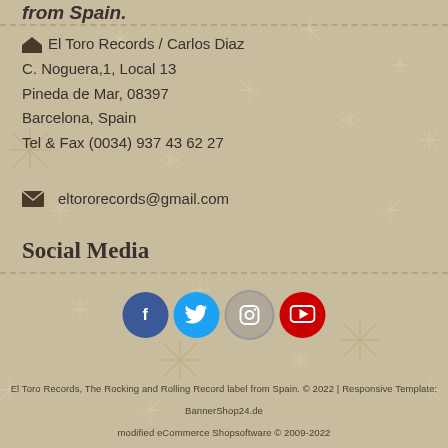from Spain.
El Toro Records / Carlos Diaz
C. Noguera,1, Local 13
Pineda de Mar, 08397
Barcelona, Spain
Tel & Fax (0034) 937 43 62 27
eltororecords@gmail.com
Social Media
[Figure (infographic): Four social media icon buttons in circles: Facebook (dark blue), Twitter (light blue), Instagram (grey outline), YouTube (red)]
El Toro Records, The Rocking and Rolling Record label from Spain. © 2022 | Responsive Template: BannerShop24.de
modified eCommerce Shopsoftware © 2009-2022